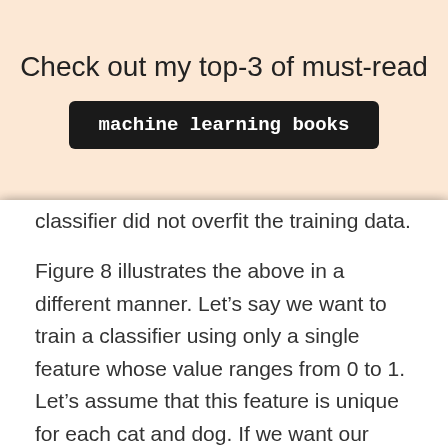Check out my top-3 of must-read
machine learning books
classifier did not overfit the training data.
Figure 8 illustrates the above in a different manner. Let’s say we want to train a classifier using only a single feature whose value ranges from 0 to 1. Let’s assume that this feature is unique for each cat and dog. If we want our training data to cover 20% of this range, then the amount of training data needed is 20% of the complete population of cats and dogs. Now, if we add